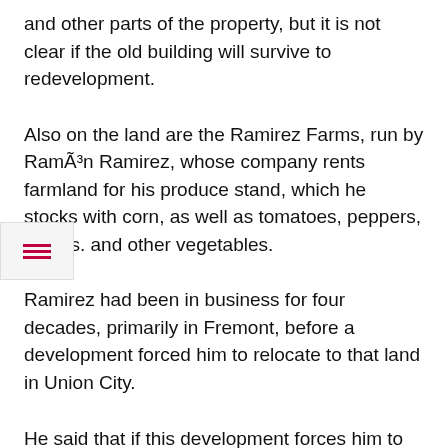and other parts of the property, but it is not clear if the old building will survive to redevelopment.
Also on the land are the Ramirez Farms, run by Ramón Ramirez, whose company rents farmland for his produce stand, which he stocks with corn, as well as tomatoes, peppers, onions. and other vegetables.
Ramirez had been in business for four decades, primarily in Fremont, before a development forced him to relocate to that land in Union City.
He said that if this development forces him to leave the earth, he is not sure he will be able to continue his activity.
Ramirez is yet to hear any details about the development.
“There is no more land available here for agriculture,” he said on Thursday. He said he might consider abandoning his business. Si...